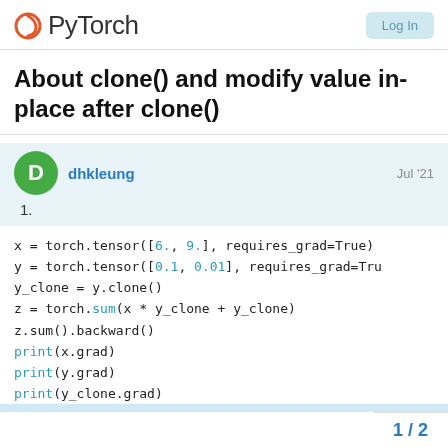PyTorch
About clone() and modify value in-place after clone()
dhkleung  Jul '21
1.
x = torch.tensor([6., 9.], requires_grad=True)
y = torch.tensor([0.1, 0.01], requires_grad=Tru
y_clone = y.clone()
z = torch.sum(x * y_clone + y_clone)
z.sum().backward()
print(x.grad)
print(y.grad)
print(y_clone.grad)
1 / 2